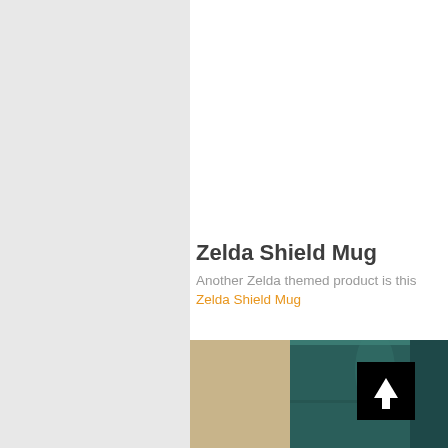[Figure (photo): Close-up photo of a dark teal/green Zelda Shield Mug viewed from above, showing the inside of the mug and the rim, resting on a wooden surface]
Zelda Shield Mug
Another Zelda themed product is this Zelda Shield Mug
[Figure (photo): Partial photo of the Zelda Shield Mug from the side showing the teal/dark green exterior, with a black square button with white upward arrow overlay]